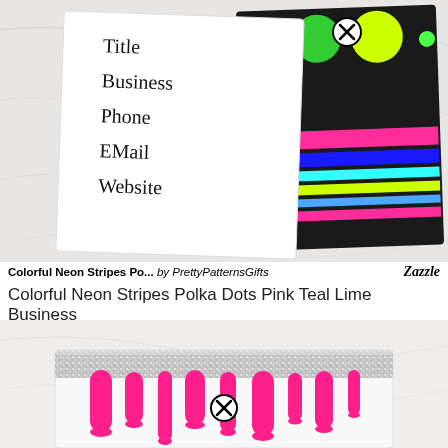[Figure (photo): Product image of a colorful neon stripes and polka dots business card on a marble surface, showing both front and back. The front has a white side with handwritten-style text: Title, Business, Phone, EMail, Website, and a close/remove icon. The back is black with green, lime, yellow polka dots and pink, blue, lime horizontal stripes.]
Colorful Neon Stripes Po... by PrettyPatternsGifts   Zazzle
Colorful Neon Stripes Polka Dots Pink Teal Lime Business
[Figure (photo): Product image of a hot pink drip / glitter silver business card on a white marble surface. The card shows silver glitter at the top with neon pink dripping paint effect below, and a close/remove icon in the center.]